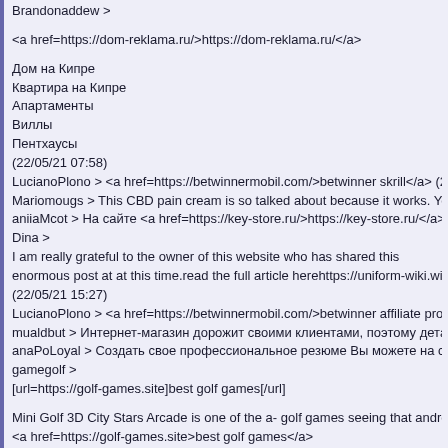Brandonaddew >
<a href=https://dom-reklama.ru/>https://dom-reklama.ru/</a>
Дом на Кипре
Квартира на Кипре
Апартаменты
Виллы
Пентхаусы
(22/05/21 07:58)
LucianoPlono > <a href=https://betwinnermobil.com/>betwinner skrill</a> (22/05/21 08:2
Mariomougs > This CBD pain cream is so talked about because it works. You can find ther
aniiaMcot > На сайте <a href=https://key-store.ru/>https://key-store.ru/</a> вы сможете н
Dina >
I am really grateful to the owner of this website who has shared this enormous post at at this time.read the full article herehttps://uniform-wiki.win/index.php?ti
(22/05/21 15:27)
LucianoPlono > <a href=https://betwinnermobil.com/>betwinner affiliate program</a> (22
mualdbut > Интернет-магазин дорожит своими клиентами, поэтому детально прорабо
anaPoLoyal > Создать свое профессиональное резюме Вы можете на сайте <a href=хtt
gamegolf >
[url=https://golf-games.site]best golf games[/url]
Mini Golf 3D City Stars Arcade is one of the a- golf games seeing that android 2019.
<a href=https://golf-games.site>best golf games</a>
(22/05/21 17:32)
golfgam >
[url=http://mcfc-fan.ru/go?https://golf-games.site]best golf games[/url]
[url=http://simvol-veri.ru/xp/carevna-kseniya-godunova.html?goto=https://golf-games.site]
[url=https://www.chicagolandchamber.org/LinkClick.aspx?link=https://golf-games.site]be